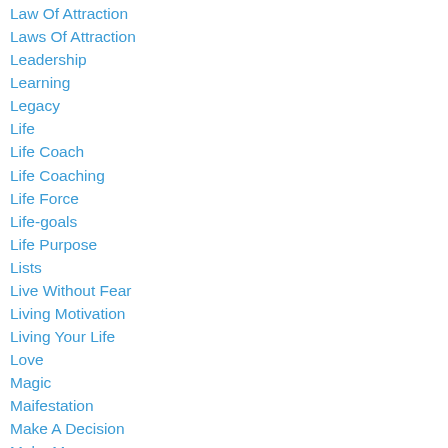Law Of Attraction
Laws Of Attraction
Leadership
Learning
Legacy
Life
Life Coach
Life Coaching
Life Force
Life-goals
Life Purpose
Lists
Live Without Fear
Living Motivation
Living Your Life
Love
Magic
Maifestation
Make A Decision
Make Money
Making Money